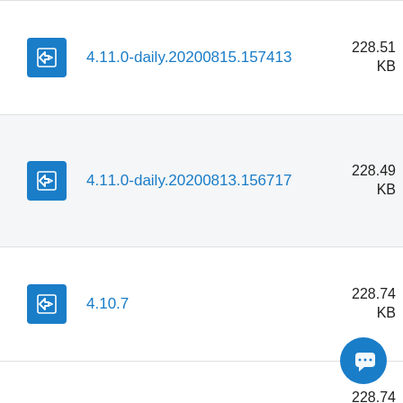4.11.0-daily.20200815.157413 — 228.51 KB
4.11.0-daily.20200813.156717 — 228.49 KB
4.10.7 — 228.74 KB
228.74 (partial)